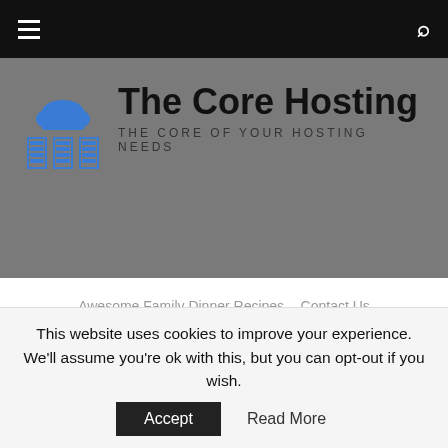The Core Hosting — THE CORE OF YOUR HOSTING NEEDS
Awesome Family Dinner Recipes
Contact Us
Guest Blogging
Guest Posting Guidelines
How To Make Money Blogging | Get Paid To Blog
Media Kit
Our Intriguing Lifestyle Mommy Bloggers
Privacy Policy
Submit Recipes to Our Ongoing Recipe Link Up
Submit Your Recipe
Giveaway Listing
This website uses cookies to improve your experience. We'll assume you're ok with this, but you can opt-out if you wish.
Accept   Read More